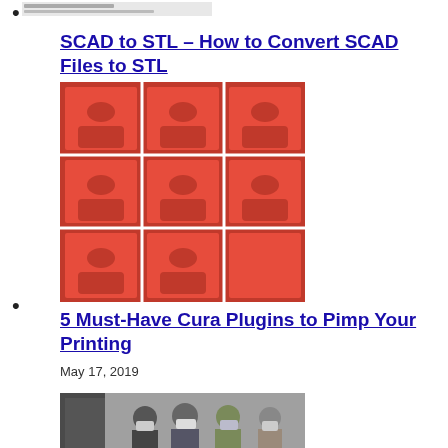[Figure (screenshot): Small cropped image at the top, partially visible]
SCAD to STL – How to Convert SCAD Files to STL
May 24, 2019
[Figure (photo): Red 3D printed block parts arranged in a grid on a white surface]
5 Must-Have Cura Plugins to Pimp Your Printing
May 17, 2019
[Figure (photo): Group of people wearing masks standing together indoors]